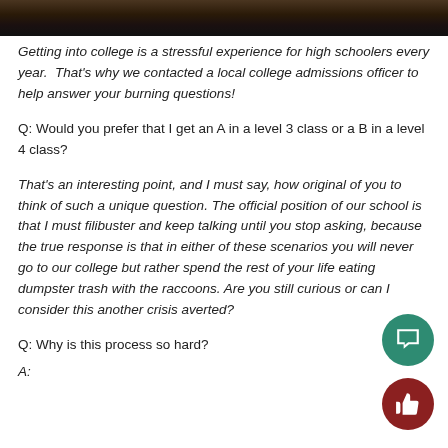[Figure (photo): Dark photo strip at top of page showing partial image]
Getting into college is a stressful experience for high schoolers every year.  That's why we contacted a local college admissions officer to help answer your burning questions!
Q: Would you prefer that I get an A in a level 3 class or a B in a level 4 class?
That's an interesting point, and I must say, how original of you to think of such a unique question. The official position of our school is that I must filibuster and keep talking until you stop asking, because the true response is that in either of these scenarios you will never go to our college but rather spend the rest of your life eating dumpster trash with the raccoons. Are you still curious or can I consider this another crisis averted?
Q: Why is this process so hard?
A: ...